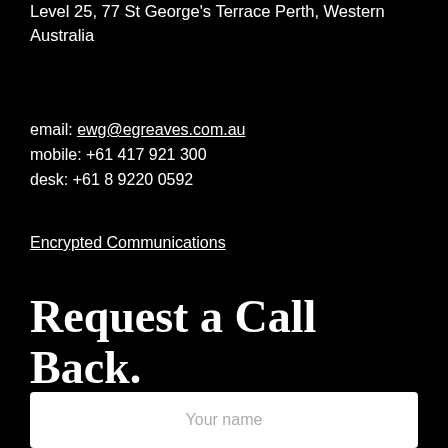Level 25, 77 St George's Terrace Perth, Western Australia
email: ewg@egreaves.com.au
mobile: +61 417 921 300
desk: +61 8 9220 0592
Encrypted Communications
Request a Call Back.
No obligation or fees for initial enquiries.
Your name